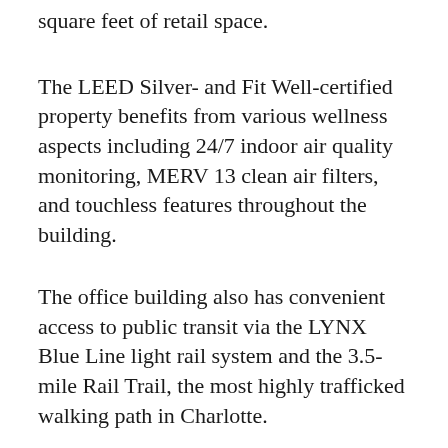square feet of retail space.
The LEED Silver- and Fit Well-certified property benefits from various wellness aspects including 24/7 indoor air quality monitoring, MERV 13 clean air filters, and touchless features throughout the building.
The office building also has convenient access to public transit via the LYNX Blue Line light rail system and the 3.5-mile Rail Trail, the most highly trafficked walking path in Charlotte.
The acquisition of The Line represents the